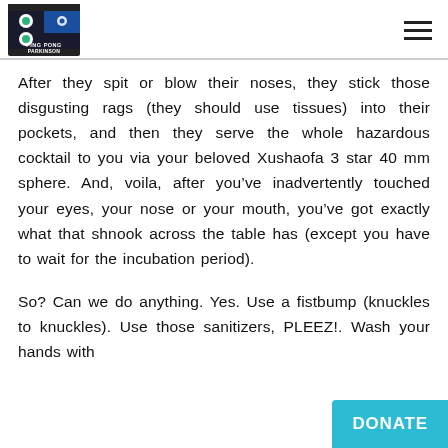Ping Pong Parkinson logo and navigation menu
After they spit or blow their noses, they stick those disgusting rags (they should use tissues) into their pockets, and then they serve the whole hazardous cocktail to you via your beloved Xushaofa 3 star 40 mm sphere. And, voila, after you’ve inadvertently touched your eyes, your nose or your mouth, you’ve got exactly what that shnook across the table has (except you have to wait for the incubation period).
So? Can we do anything. Yes. Use a fistbump (knuckles to knuckles). Use those sanitizers, PLEEZ!. Wash your hands with